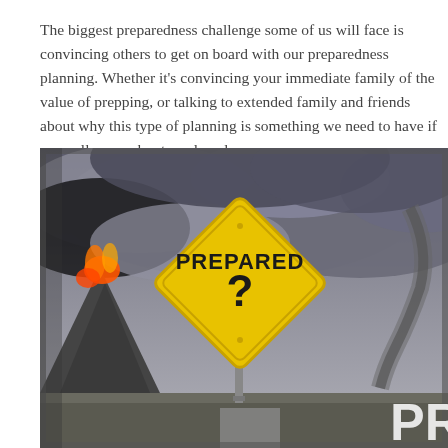The biggest preparedness challenge some of us will face is convincing others to get on board with our preparedness planning. Whether it's convincing your immediate family of the value of prepping, or talking to extended family and friends about why this type of planning is something we need to have if we really care about our loved ones...
[Figure (photo): A yellow diamond-shaped road sign reading 'PREPARED ?' against a dramatic stormy sky background with a volcano erupting at lower left and what appears to be a tornado on the right side. Text 'PR' visible in lower right corner.]